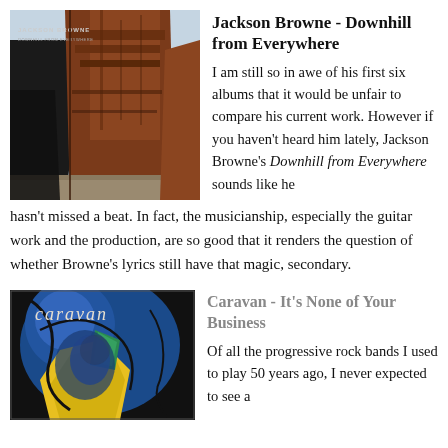[Figure (photo): Album cover for Jackson Browne - Downhill from Everywhere, showing large ship hulls in a dry dock or beach setting with a grey sky]
Jackson Browne - Downhill from Everywhere
I am still so in awe of his first six albums that it would be unfair to compare his current work. However if you haven't heard him lately, Jackson Browne's Downhill from Everywhere sounds like he hasn't missed a beat. In fact, the musicianship, especially the guitar work and the production, are so good that it renders the question of whether Browne's lyrics still have that magic, secondary.
[Figure (illustration): Album cover for Caravan - It's None of Your Business, showing a colorful illustrated figure with blue and yellow tones and the word 'caravan' written in a stylized font]
Caravan - It's None of Your Business
Of all the progressive rock bands I used to play 50 years ago, I never expected to see a